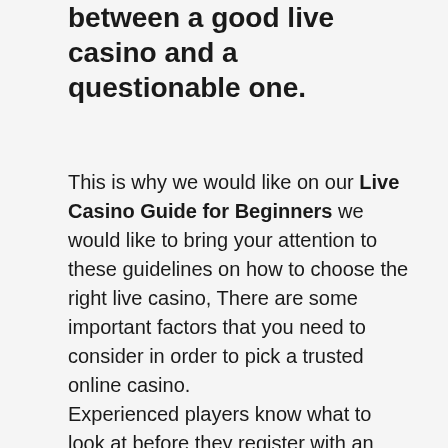between a good live casino and a questionable one.
This is why we would like on our Live Casino Guide for Beginners we would like to bring your attention to these guidelines on how to choose the right live casino, There are some important factors that you need to consider in order to pick a trusted online casino.
Experienced players know what to look at before they register with an online casino but if you are